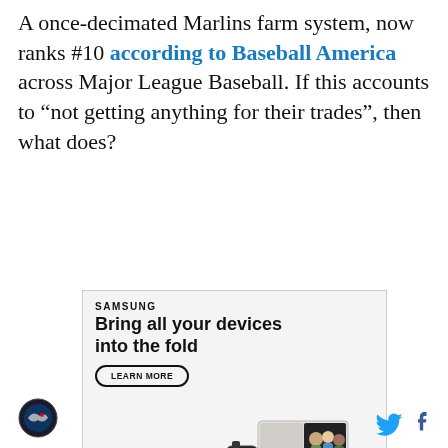A once-decimated Marlins farm system, now ranks #10 according to Baseball America across Major League Baseball. If this accounts to “not getting anything for their trades”, then what does?
[Figure (advertisement): Samsung advertisement for Galaxy Z Fold4. Headline: Bring all your devices into the fold. Button: LEARN MORE. Shows Samsung smartwatch, foldable phone with video call, and earbuds. Fine print about S Pen and Microsoft Teams.]
[Figure (logo): Sports team circular logo at bottom left]
[Figure (other): Twitter and Facebook social media icons at bottom right]